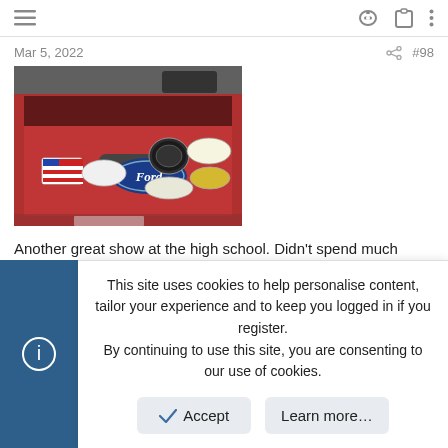≡  [key icon] [clipboard icon] [more icon]
Mar 5, 2022   [share]  #98
[Figure (photo): Photo of the rear tailgate of a red Ford truck with multiple bumper stickers including an American flag sticker, Wounded Warrior Project sticker, Ford oval logo, and several other oval stickers.]
Another great show at the high school. Didn't spend much except on the raffles. A certain tailgate sticker and some other goodies followed me home though. Benny !!!
BennyV and Snapprhead27
This site uses cookies to help personalise content, tailor your experience and to keep you logged in if you register.
By continuing to use this site, you are consenting to our use of cookies.
✓ Accept   Learn more...